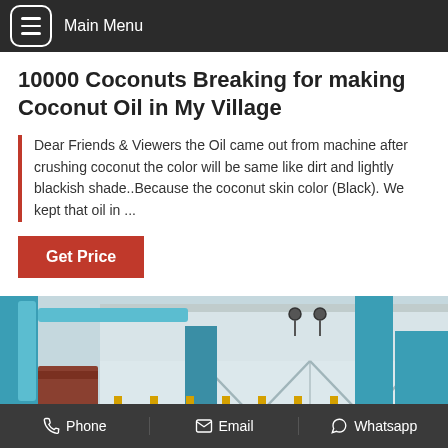Main Menu
10000 Coconuts Breaking for making Coconut Oil in My Village
Dear Friends & Viewers the Oil came out from machine after crushing coconut the color will be same like dirt and lightly blackish shade..Because the coconut skin color (Black). We kept that oil in ...
Get Price
[Figure (photo): Industrial factory building with teal/blue structural steel columns, yellow railings/scaffolding, corrugated metal roof, and large structural X-bracing panels]
Phone   Email   Whatsapp